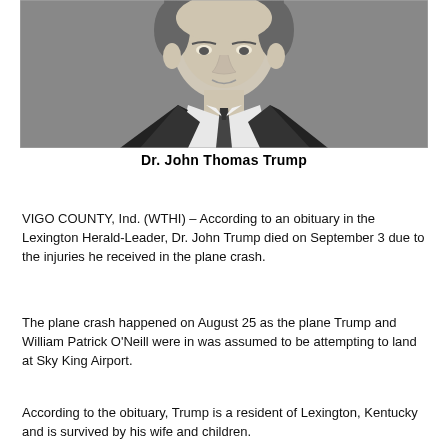[Figure (photo): Black and white portrait photograph of Dr. John Thomas Trump, a man in a dark suit and tie, cropped from the chest up, with a light gray background.]
Dr. John Thomas Trump
VIGO COUNTY, Ind. (WTHI) – According to an obituary in the Lexington Herald-Leader, Dr. John Trump died on September 3 due to the injuries he received in the plane crash.
The plane crash happened on August 25 as the plane Trump and William Patrick O'Neill were in was assumed to be attempting to land at Sky King Airport.
According to the obituary, Trump is a resident of Lexington, Kentucky and is survived by his wife and children.